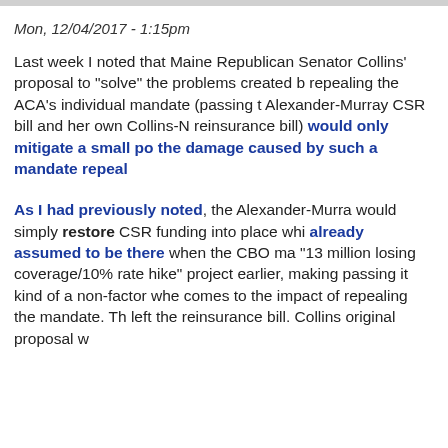Mon, 12/04/2017 - 1:15pm
Last week I noted that Maine Republican Senator Collins' proposal to "solve" the problems created by repealing the ACA's individual mandate (passing the Alexander-Murray CSR bill and her own Collins-N... reinsurance bill) would only mitigate a small po... the damage caused by such a mandate repeal...
As I had previously noted, the Alexander-Murray... would simply restore CSR funding into place which was already assumed to be there when the CBO made its "13 million losing coverage/10% rate hike" project... earlier, making passing it kind of a non-factor when it comes to the impact of repealing the mandate. The... left the reinsurance bill. Collins original proposal w...